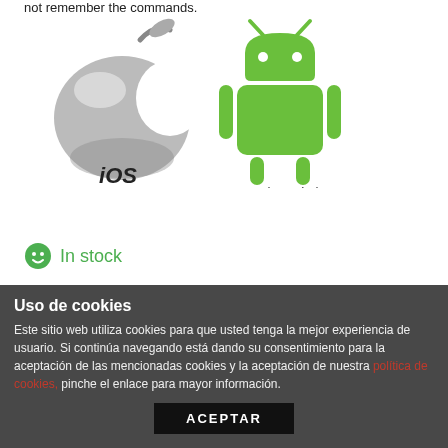not remember the commands.
[Figure (logo): iOS Apple logo and Android robot logo side by side with text labels 'iOS' and 'ANDROID']
In stock
1
Add to cart
Uso de cookies
Este sitio web utiliza cookies para que usted tenga la mejor experiencia de usuario. Si continúa navegando está dando su consentimiento para la aceptación de las mencionadas cookies y la aceptación de nuestra política de cookies, pinche el enlace para mayor información.
ACEPTAR